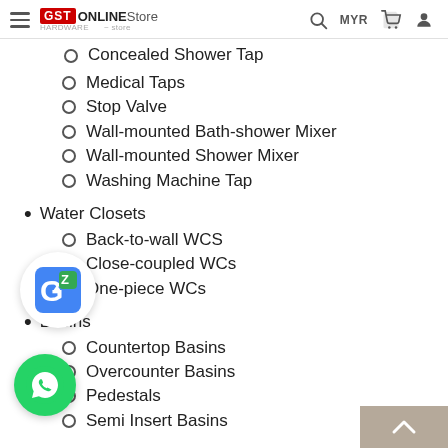GST ONLINE Store | MYR
Concealed Shower Tap
Medical Taps
Stop Valve
Wall-mounted Bath-shower Mixer
Wall-mounted Shower Mixer
Washing Machine Tap
Water Closets
Back-to-wall WCS
Close-coupled WCs
One-piece WCs
Basins
Countertop Basins
Overcounter Basins
Pedestals
Semi Insert Basins